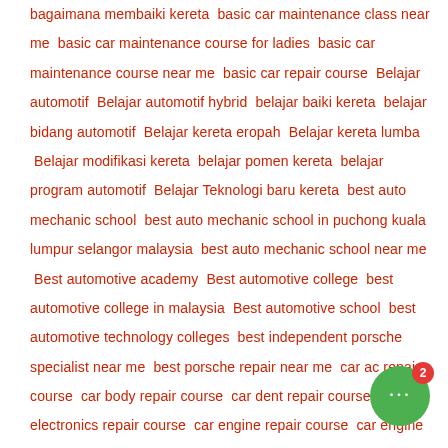bagaimana membaiki kereta  basic car maintenance class near me  basic car maintenance course for ladies  basic car maintenance course near me  basic car repair course  Belajar automotif  Belajar automotif hybrid  belajar baiki kereta  belajar bidang automotif  Belajar kereta eropah  Belajar kereta lumba  Belajar modifikasi kereta  belajar pomen kereta  belajar program automotif  Belajar Teknologi baru kereta  best auto mechanic school  best auto mechanic school in puchong kuala lumpur selangor malaysia  best auto mechanic school near me  Best automotive academy  Best automotive college  best automotive college in malaysia  Best automotive school  best automotive technology colleges  best independent porsche specialist near me  best porsche repair near me  car ac repair course  car body repair course  car dent repair course  car electronics repair course  car engine repair course  car engine repair training  car maintenance classes  car maintenance classes near me  car maintenance course for ladies  car maintenance course for ladies near me  car maintenance courses  car maintenance for beginners course  car mechanic classes near me  car mechanic
[Figure (other): Green chat bubble widget with ellipsis icon and red notification badge showing number 2]